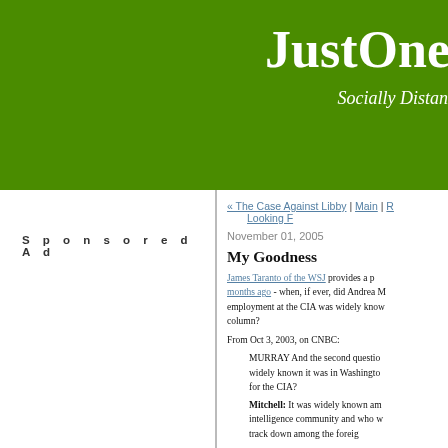JustOne (truncated) — Socially Distan...
Sponsored Ad
« The Case Against Libby | Main | R... Looking F...
November 01, 2005
My Goodness
James Taranto of the WSJ provides a p... months ago - when, if ever, did Andrea ... employment at the CIA was widely know... column?
From Oct 3, 2003, on CNBC:
MURRAY And the second questio... widely known it was in Washingto... for the CIA?
Mitchell: It was widely known am... intelligence community and who w... track down among the foreig...